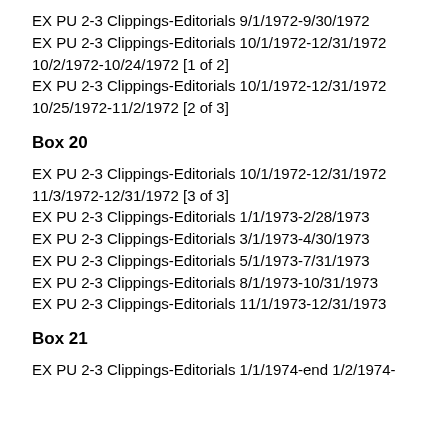EX PU 2-3 Clippings-Editorials 9/1/1972-9/30/1972
EX PU 2-3 Clippings-Editorials 10/1/1972-12/31/1972 10/2/1972-10/24/1972 [1 of 2]
EX PU 2-3 Clippings-Editorials 10/1/1972-12/31/1972 10/25/1972-11/2/1972 [2 of 3]
Box 20
EX PU 2-3 Clippings-Editorials 10/1/1972-12/31/1972 11/3/1972-12/31/1972 [3 of 3]
EX PU 2-3 Clippings-Editorials 1/1/1973-2/28/1973
EX PU 2-3 Clippings-Editorials 3/1/1973-4/30/1973
EX PU 2-3 Clippings-Editorials 5/1/1973-7/31/1973
EX PU 2-3 Clippings-Editorials 8/1/1973-10/31/1973
EX PU 2-3 Clippings-Editorials 11/1/1973-12/31/1973
Box 21
EX PU 2-3 Clippings-Editorials 1/1/1974-end 1/2/1974-